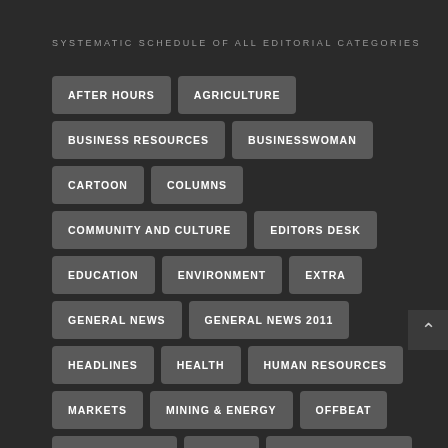SYSTEMATIC SCHEDULE OF ALL EDITORIAL CATEGORIES
AFTER HOURS
AGRICULTURE
BUSINESS RESOURCES
BUSINESSWOMAN
CARTOON
COLUMNS
COMMUNITY AND CULTURE
EDITORS DESK
EDUCATION
ENVIRONMENT
EXTRA
GENERAL NEWS
GENERAL NEWS 2011
HEADLINES
HEALTH
HUMAN RESOURCES
MARKETS
MINING & ENERGY
OFFBEAT
PERSPECTIVES
RETAIL
SPEAK YOUR MIND